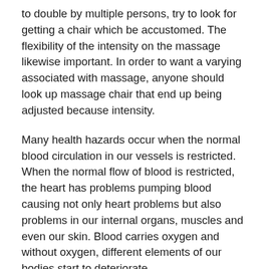to double by multiple persons, try to look for getting a chair which be accustomed. The flexibility of the intensity on the massage likewise important. In order to want a varying associated with massage, anyone should look up massage chair that end up being adjusted because intensity.
Many health hazards occur when the normal blood circulation in our vessels is restricted. When the normal flow of blood is restricted, the heart has problems pumping blood causing not only heart problems but also problems in our internal organs, muscles and even our skin. Blood carries oxygen and without oxygen, different elements of our bodies start to deteriorate.